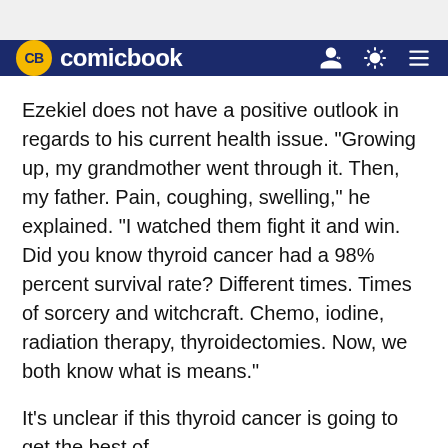WWE Releases | Disney+ Price Increase | Disney+ Price Incre
comicbook
Ezekiel does not have a positive outlook in regards to his current health issue. "Growing up, my grandmother went through it. Then, my father. Pain, coughing, swelling," he explained. "I watched them fight it and win. Did you know thyroid cancer had a 98% percent survival rate? Different times. Times of sorcery and witchcraft. Chemo, iodine, radiation therapy, thyroidectomies. Now, we both know what is means."
It's unclear if this thyroid cancer is going to get the best of